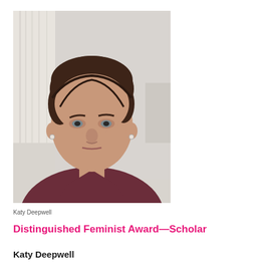[Figure (photo): Portrait photo of Katy Deepwell, a woman with short dark hair wearing a dark maroon v-neck sweater, photographed against a light background with curtains visible.]
Katy Deepwell
Distinguished Feminist Award—Scholar
Katy Deepwell